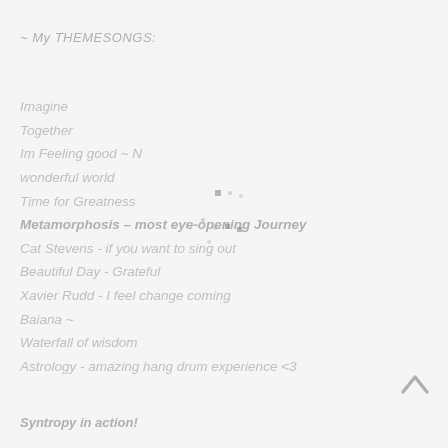~ My THEMESONGS:
Imagine
Together
Im Feeling good ~ N
wonderful world
Time for Greatness
Metamorphosis – most eye-opening Journey
Cat Stevens - if you want to sing out
Beautiful Day - Grateful
Xavier Rudd - I feel change coming
Baiana ~
Waterfall of wisdom
Astrology - amazing hang drum experience <3
Syntropy in action!